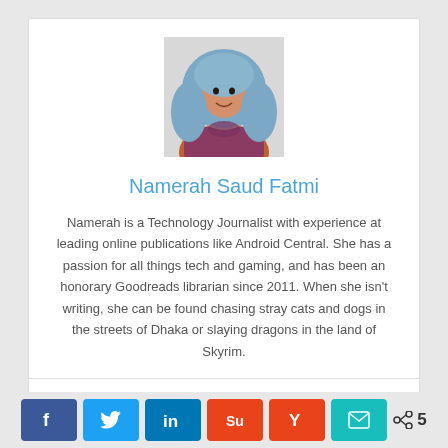[Figure (photo): Profile photo of Namerah Saud Fatmi, a woman wearing a blue/grey hijab and colorful top, photographed against a white background.]
Namerah Saud Fatmi
Namerah is a Technology Journalist with experience at leading online publications like Android Central. She has a passion for all things tech and gaming, and has been an honorary Goodreads librarian since 2011. When she isn't writing, she can be found chasing stray cats and dogs in the streets of Dhaka or slaying dragons in the land of Skyrim.
[Figure (other): Social media icon links: Twitter bird icon, LinkedIn 'in' icon, and email envelope icon]
[Figure (other): Share bar with colored buttons: Facebook (blue), Twitter (blue), LinkedIn (dark blue), StumbleUpon/Reddit (orange-red), Yummly (red/orange), Email (teal), and a share count of 5]